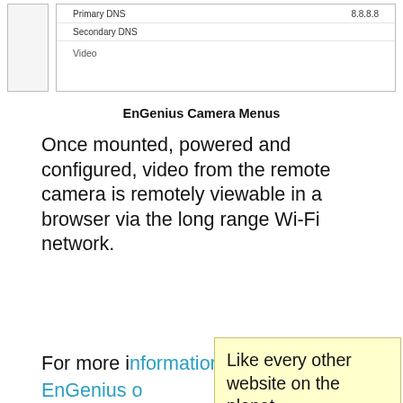[Figure (screenshot): Screenshot of EnGenius camera configuration interface showing Primary DNS (8.8.8), Secondary DNS fields, and Video section]
EnGenius Camera Menus
Once mounted, powered and configured, video from the remote camera is remotely viewable in a browser via the long range Wi-Fi network.
For more i[nformation visit our] r[eviews of the] EnGenius [ENS500EXT Outdoor] o[r the] Surveillan[ce-grade ENS500EXT to] ss 5 GHz Surveillan[ce network systems]
Like every other website on the planet, SmallNetBuilder uses cookies. Our cookies track login status, but we only allow admins to log in anyway, so those don't apply to you. Any other cookies you pick up during your visit come from advertisers, which we don't control.
If you continue to use the site, you agree to tolerate our use of cookies. Thank you!